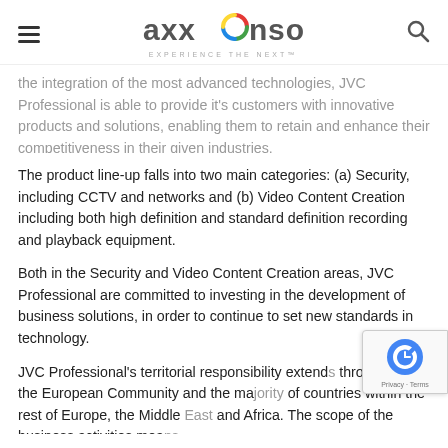AxxonSoft — EXPERIENCE THE NEXT
the integration of the most advanced technologies, JVC Professional is able to provide it's customers with innovative products and solutions, enabling them to retain and enhance their competitiveness in their given industries.
The product line-up falls into two main categories: (a) Security, including CCTV and networks and (b) Video Content Creation including both high definition and standard definition recording and playback equipment.
Both in the Security and Video Content Creation areas, JVC Professional are committed to investing in the development of business solutions, in order to continue to set new standards in technology.
JVC Professional's territorial responsibility extends throughout the European Community and the majority of countries within the rest of Europe, the Middle East and Africa. The scope of the business activities means…